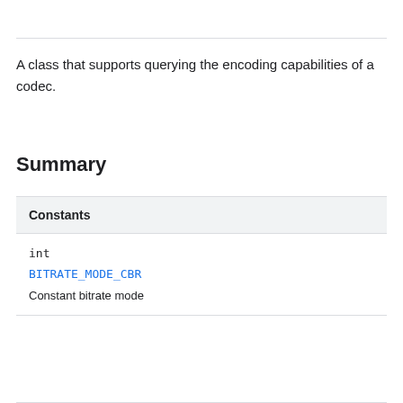A class that supports querying the encoding capabilities of a codec.
Summary
| Constants |
| --- |
| int | BITRATE_MODE_CBR
Constant bitrate mode |